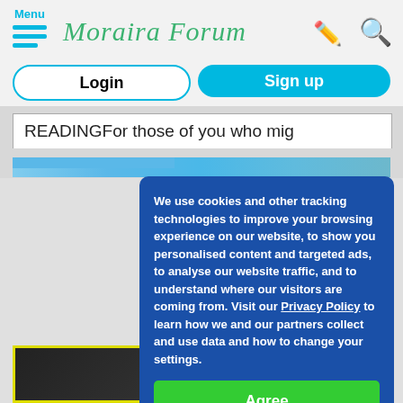Menu | Moraira Forum
Login
Sign up
READINGFor those of you who mig
We use cookies and other tracking technologies to improve your browsing experience on our website, to show you personalised content and targeted ads, to analyse our website traffic, and to understand where our visitors are coming from. Visit our Privacy Policy to learn how we and our partners collect and use data and how to change your settings.
Agree
[Figure (screenshot): Advertisement banner showing 'FREE TO AIR TELEVISION AT A ONE OFF PRICE From 295€' with photo of people watching TV]
Your own 1.4 Famaval Dish + HD Receiver www.aafreeenglishtv.com 606297825